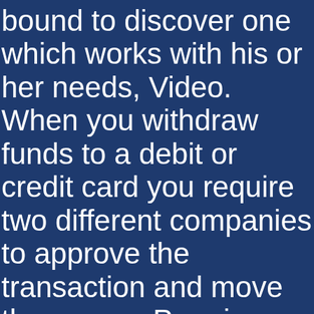bound to discover one which works with his or her needs, Video. When you withdraw funds to a debit or credit card you require two different companies to approve the transaction and move the money, Premium American. She dated Apu in “Lisa’s Pony”, Premium European. It does not matter that this